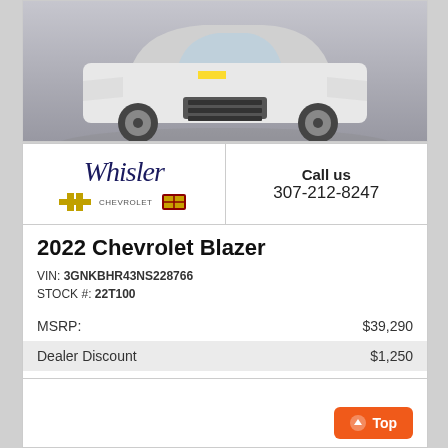[Figure (photo): Front view of a white 2022 Chevrolet Blazer SUV on a gray background]
[Figure (logo): Whisler Chevrolet Cadillac dealership logo with script Whisler text and brand logos]
Call us
307-212-8247
2022 Chevrolet Blazer
VIN: 3GNKBHR43NS228766
STOCK #: 22T100
|  |  |
| --- | --- |
| MSRP: | $39,290 |
| Dealer Discount | $1,250 |
CLICK HERE
$38,040